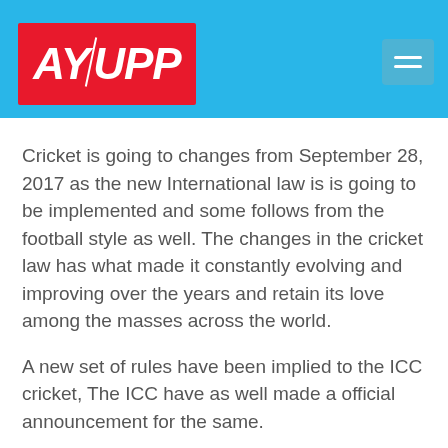AYUPP
Cricket is going to changes from September 28, 2017 as the new International law is is going to be implemented and some follows from the football style as well. The changes in the cricket law has what made it constantly evolving and improving over the years and retain its love among the masses across the world.
A new set of rules have been implied to the ICC cricket, The ICC have as well made a official announcement for the same.